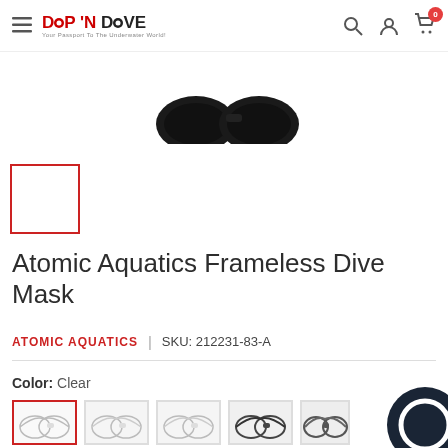DIP 'N DIVE - Your Passport To The Underwater World!
[Figure (photo): Partial view of dive mask from above, showing two dark lens portions against white background]
[Figure (photo): Thumbnail image placeholder with red border, empty white box]
Atomic Aquatics Frameless Dive Mask
ATOMIC AQUATICS  |  SKU: 212231-83-A
Color:  Clear
[Figure (photo): Five dive mask color variant swatches: clear/white selected, two clear variants, black, and dark/camo. Chat support bubble partially visible at bottom right.]